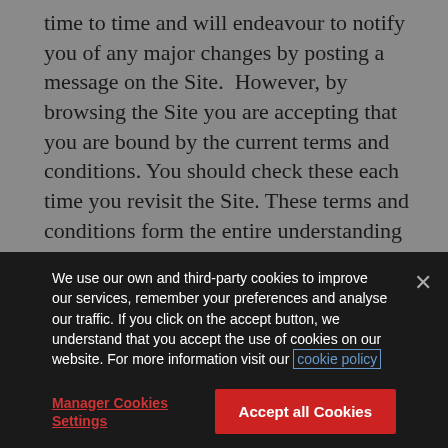time to time and will endeavour to notify you of any major changes by posting a message on the Site.  However, by browsing the Site you are accepting that you are bound by the current terms and conditions. You should check these each time you revisit the Site. These terms and conditions form the entire understanding of the parties and supersede all previous agreements, understandings and representations relating to the subject matter of their terms or your use of the Site. If any provision of these terms and conditions is found to be unenforceable, this shall not affect the validity of any other provision. Hiscox may delay enforcing its rights under these terms and conditions without
We use our own and third-party cookies to improve our services, remember your preferences and analyse our traffic. If you click on the accept button, we understand that you accept the use of cookies on our website. For more information visit our cookie policy
Manager Cookies Settings
Accept all Cookies